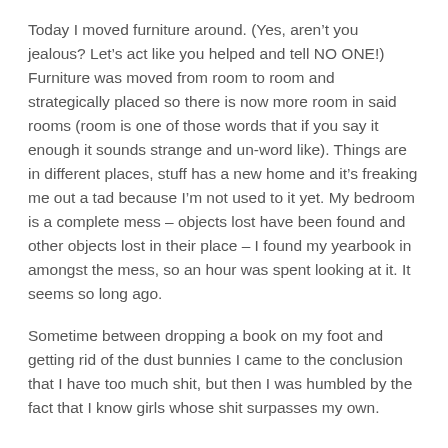Today I moved furniture around. (Yes, aren't you jealous? Let's act like you helped and tell NO ONE!) Furniture was moved from room to room and strategically placed so there is now more room in said rooms (room is one of those words that if you say it enough it sounds strange and un-word like). Things are in different places, stuff has a new home and it's freaking me out a tad because I'm not used to it yet. My bedroom is a complete mess – objects lost have been found and other objects lost in their place – I found my yearbook in amongst the mess, so an hour was spent looking at it. It seems so long ago.
Sometime between dropping a book on my foot and getting rid of the dust bunnies I came to the conclusion that I have too much shit, but then I was humbled by the fact that I know girls whose shit surpasses my own.